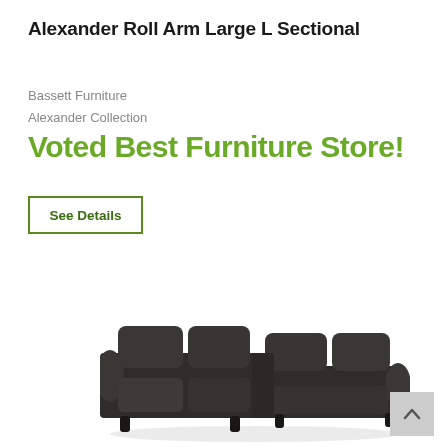Alexander Roll Arm Large L Sectional
Bassett Furniture
Alexander Collection
Voted Best Furniture Store!
See Details
[Figure (photo): Dark gray Alexander Roll Arm Large L Sectional sofa with rolled arms, deep cushions, and small dark wooden legs, shown from a front-angle view against a white background.]